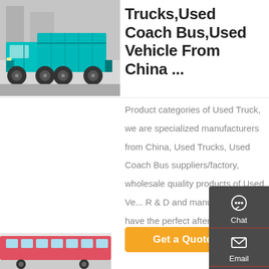[Figure (photo): A teal/cyan colored dump truck photographed from the side in a lot]
Trucks,Used Coach Bus,Used Vehicle From China ...
Product categories of Used Truck, we are specialized manufacturers from China, Used Trucks, Used Coach Bus suppliers/factory, wholesale quality products of Used Ve... R & D and manufacturing, we have the perfect after-sale service and technical support.
[Figure (infographic): Right sidebar with Chat, Email, Contact, and Top navigation icons on dark grey background]
[Figure (photo): Partial view of a pink/red coach bus at the bottom left]
Get a Quote